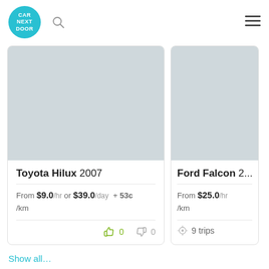Car Next Door
[Figure (other): Car listing card for Toyota Hilux 2007, placeholder image]
Toyota Hilux 2007
From $9.0 /hr or $39.0 /day + 53c /km
ThumbsUp: 0  ThumbsDown: 0
[Figure (other): Car listing card for Ford Falcon (partial), placeholder image]
Ford Falcon ...
From $25.0 /hr /km
9 trips
Show all ...